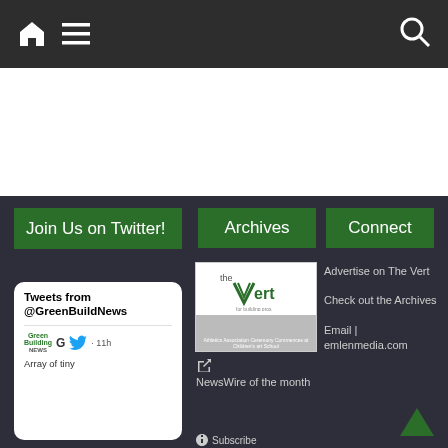Navigation bar with home icon, menu icon, and search icon
[Figure (screenshot): Black bar area top right, partial banner]
Join Us on Twitter!
[Figure (screenshot): Tweets from @GreenBuildNews Twitter widget showing Green Building News logo, G letter, Twitter bird icon, 11h time, and text 'Array of tiny']
Archives
[Figure (photo): The Vert magazine cover showing logo and group photo]
NewsWire of the month
Subscribe
Connect
Advertise on The Vert
Check out the Archives
Email | emmlenmedia.com